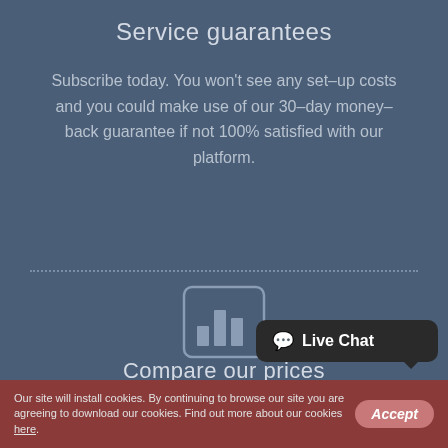Service guarantees
Subscribe today. You won't see any set–up costs and you could make use of our 30–day money–back guarantee if not 100% satisfied with our platform.
[Figure (illustration): Bar chart icon inside a rounded rectangle, representing price comparison]
Compare our prices
Have a look at our prices and select the right hosting service for your private or
Our site will install cookies. By continuing to browse our site you are agreeing to download our cookies. Find out more about our cookies here.